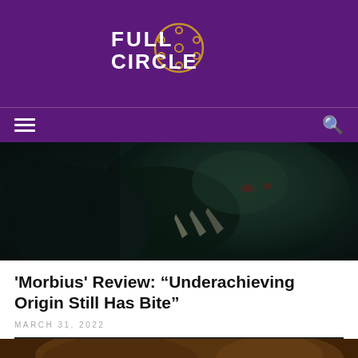[Figure (logo): Full Circle film review website logo with film reel icon, white text on purple background]
[Figure (photo): Dark cinematic close-up of a monstrous face with fangs and claws from the movie Morbius]
'Morbius' Review: “Underachieving Origin Still Has Bite”
MARCH 31, 2022
[Figure (photo): Partial image visible at bottom of page, brownish tones]